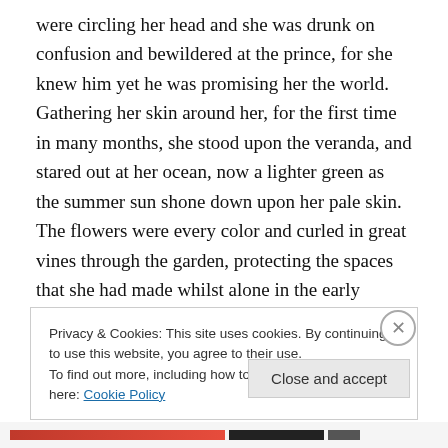were circling her head and she was drunk on confusion and bewildered at the prince, for she knew him yet he was promising her the world. Gathering her skin around her, for the first time in many months, she stood upon the veranda, and stared out at her ocean, now a lighter green as the summer sun shone down upon her pale skin. The flowers were every color and curled in great vines through the garden, protecting the spaces that she had made whilst alone in the early spring.
Privacy & Cookies: This site uses cookies. By continuing to use this website, you agree to their use. To find out more, including how to control cookies, see here: Cookie Policy